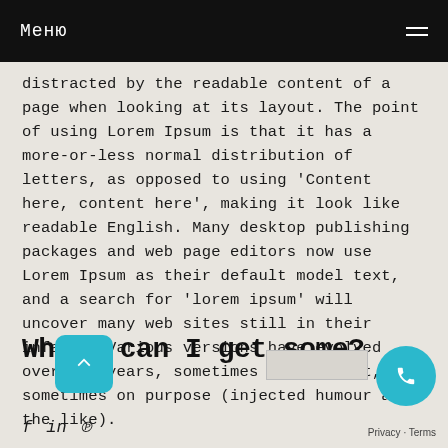Меню
distracted by the readable content of a page when looking at its layout. The point of using Lorem Ipsum is that it has a more-or-less normal distribution of letters, as opposed to using 'Content here, content here', making it look like readable English. Many desktop publishing packages and web page editors now use Lorem Ipsum as their default model text, and a search for 'lorem ipsum' will uncover many web sites still in their infancy. Various versions have evolved over the years, sometimes by accident, sometimes on purpose (injected humour and the like).
Where can I get some?
[Figure (other): Scroll-to-top button (blue rounded square with upward chevron arrow)]
[Figure (other): Call button (blue circle with phone icon)]
f   in   ℗
Privacy · Terms